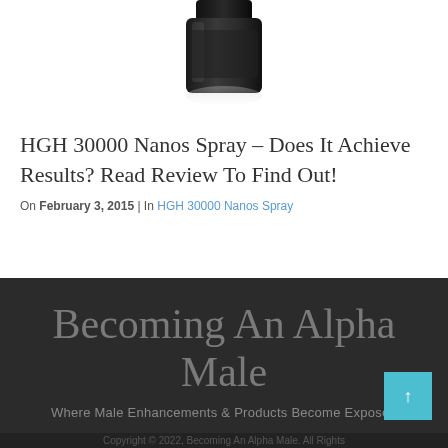[Figure (photo): Product photo of HGH 30000 Nanos Spray bottle, dark colored bottle with reflection on white background, partially cropped at top]
HGH 30000 Nanos Spray – Does It Achieve Results? Read Review To Find Out!
On February 3, 2015 | In HGH 30000 Nanos Spray
Becoming An Alpha Male
Where Male Enhancements & Products Become Exposed
Copyright 2022, Becoming An Alpha Male. All Rights